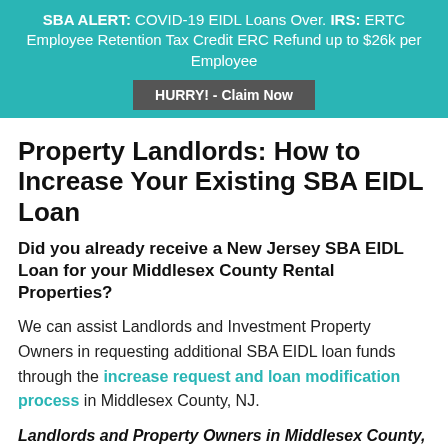SBA ALERT: COVID-19 EIDL Loans Over. IRS: ERTC Employee Retention Tax Credit ERC Refund up to $26k per Employee
HURRY! - Claim Now
Property Landlords: How to Increase Your Existing SBA EIDL Loan
Did you already receive a New Jersey SBA EIDL Loan for your Middlesex County Rental Properties?
We can assist Landlords and Investment Property Owners in requesting additional SBA EIDL loan funds through the increase request and loan modification process in Middlesex County, NJ.
Landlords and Property Owners in Middlesex County, NJ can schedule a free Disaster Loan